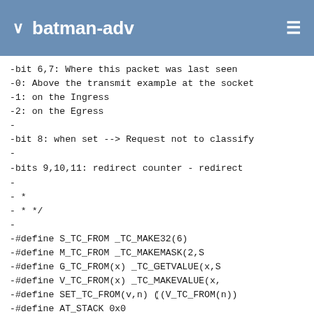batman-adv
-bit 6,7: Where this packet was last seen
-0: Above the transmit example at the socket
-1: on the Ingress
-2: on the Egress
-
-bit 8: when set --> Request not to classify
-
-bits 9,10,11: redirect counter -  redirect
-
- *
- * */
-
-#define S_TC_FROM                    _TC_MAKE32(6)
-#define M_TC_FROM                    _TC_MAKEMASK(2,S
-#define G_TC_FROM(x)                 _TC_GETVALUE(x,S
-#define V_TC_FROM(x)                 _TC_MAKEVALUE(x,
-#define SET_TC_FROM(v,n)   ((V_TC_FROM(n))
-#define AT_STACK       0x0
-#define AT_INGRESS     0x1
-#define AT_EGRESS      0x2
-
-#define TC_NCLS                      _TC_MAKEMASK1(8)
-#define SET_TC_NCLS(v)    ( TC_NCLS | (v & ~
-#define CLR_TC_NCLS(v)    ( v & ~TC_NCLS)